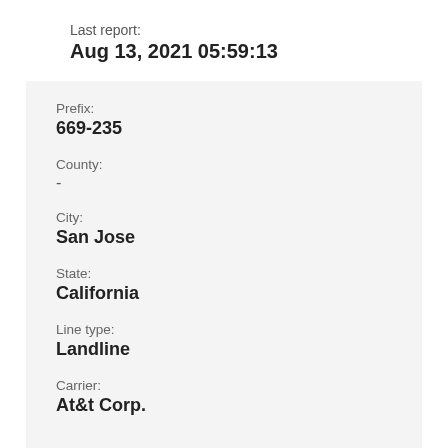Last report:
Aug 13, 2021 05:59:13
Prefix:
669-235
County:
-
City:
San Jose
State:
California
Line type:
Landline
Carrier:
At&t Corp.